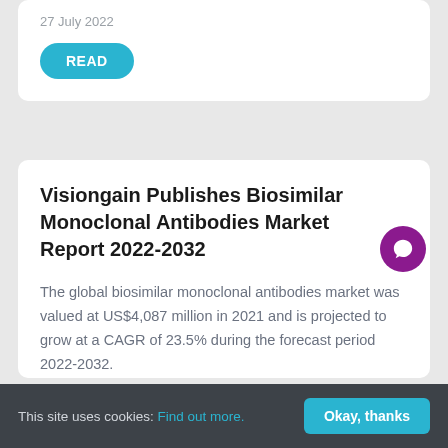27 July 2022
READ
Visiongain Publishes Biosimilar Monoclonal Antibodies Market Report 2022-2032
The global biosimilar monoclonal antibodies market was valued at US$4,087 million in 2021 and is projected to grow at a CAGR of 23.5% during the forecast period 2022-2032.
This site uses cookies: Find out more. Okay, thanks